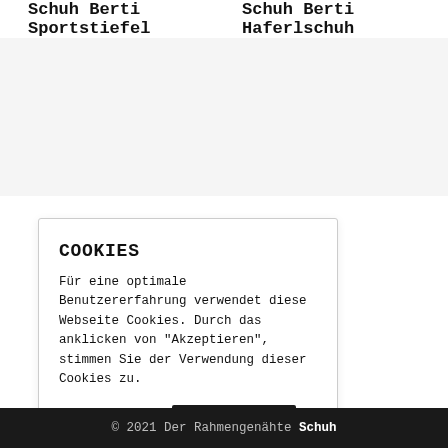Schuh Berti Sportstiefel   Schuh Berti Haferlschuh
COOKIES
Für eine optimale Benutzererfahrung verwendet diese Webseite Cookies. Durch das anklicken von "Akzeptieren", stimmen Sie der Verwendung dieser Cookies zu.
Einstellungen   Akzeptieren
© 2021 Der Rahmengenähte Schuh